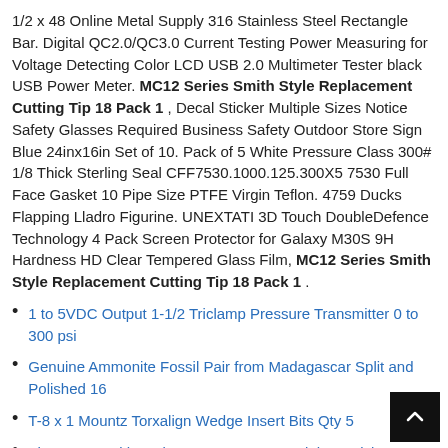1/2 x 48 Online Metal Supply 316 Stainless Steel Rectangle Bar. Digital QC2.0/QC3.0 Current Testing Power Measuring for Voltage Detecting Color LCD USB 2.0 Multimeter Tester black USB Power Meter. MC12 Series Smith Style Replacement Cutting Tip 18 Pack 1 , Decal Sticker Multiple Sizes Notice Safety Glasses Required Business Safety Outdoor Store Sign Blue 24inx16in Set of 10. Pack of 5 White Pressure Class 300# 1/8 Thick Sterling Seal CFF7530.1000.125.300X5 7530 Full Face Gasket 10 Pipe Size PTFE Virgin Teflon. 4759 Ducks Flapping Lladro Figurine. UNEXTATI 3D Touch DoubleDefence Technology 4 Pack Screen Protector for Galaxy M30S 9H Hardness HD Clear Tempered Glass Film, MC12 Series Smith Style Replacement Cutting Tip 18 Pack 1 .
1 to 5VDC Output 1-1/2 Triclamp Pressure Transmitter 0 to 300 psi
Genuine Ammonite Fossil Pair from Madagascar Split and Polished 16
T-8 x 1 Mountz Torxalign Wedge Insert Bits Qty 5
Thermostat with Probe Sensor AC220V High Precision Digital Thermostat Control Temperature Controller Switch Temperature Control Switch
Modern Abstract Wall Art Decor Black White Yellow Mustard Artwork